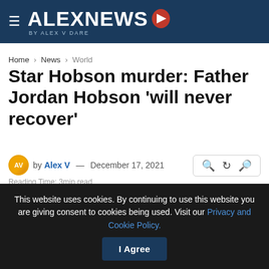ALEXNEWS BY ALEX V DARE
Home > News > World
Star Hobson murder: Father Jordan Hobson 'will never recover'
by Alex V — December 17, 2021
Reading Time: 3min read
[Figure (other): Gray advertisement/image placeholder box]
This website uses cookies. By continuing to use this website you are giving consent to cookies being used. Visit our Privacy and Cookie Policy.